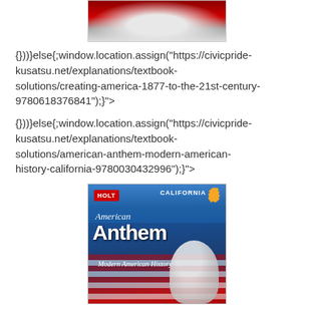[Figure (photo): Top portion of a textbook cover showing a metallic/red design, partially cropped]
{}))}else{;window.location.assign("https://civicpride-kusatsu.net/explanations/textbook-solutions/creating-america-1877-to-the-21st-century-9780618376841");}"}>
{}))}else{;window.location.assign("https://civicpride-kusatsu.net/explanations/textbook-solutions/american-anthem-modern-american-history-california-9780030432996");}"}>
[Figure (photo): HOLT California American Anthem Modern American History textbook cover with blue sky, American flag, and astronaut imagery]